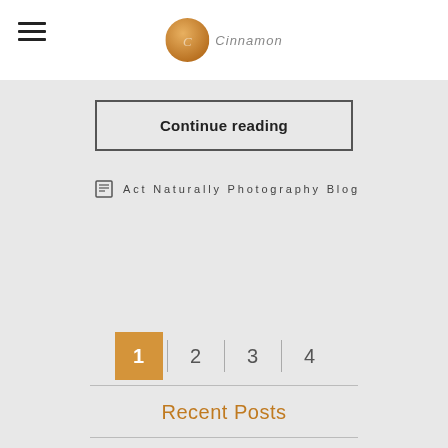Cinnamon (logo) blog header
Continue reading
Act Naturally Photography Blog
1 | 2 | 3 | 4
Recent Posts